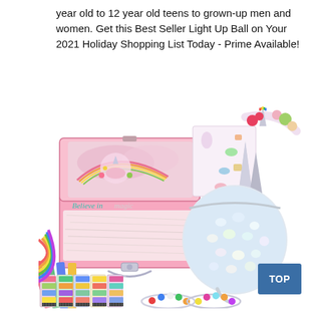year old to 12 year old teens to grown-up men and women. Get this Best Seller Light Up Ball on Your 2021 Holiday Shopping List Today - Prime Available!
[Figure (photo): Product photo of a unicorn-themed gift set including: a pink suitcase-style box with unicorn and rainbow design and 'Believe in Magic' text, unicorn sticker sheets, a unicorn headband with colorful flowers and horn, a shimmery iridescent sequin mini backpack, colorful hair chalk combs, and charm bracelets with colorful beads.]